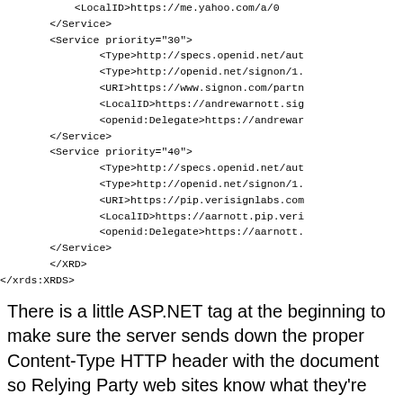<LocalID>https://me.yahoo.com/a/0
</Service>
<Service priority="30">
        <Type>http://specs.openid.net/aut
        <Type>http://openid.net/signon/1.
        <URI>https://www.signon.com/partn
        <LocalID>https://andrewarnott.sig
        <openid:Delegate>https://andrewar
</Service>
<Service priority="40">
        <Type>http://specs.openid.net/aut
        <Type>http://openid.net/signon/1.
        <URI>https://pip.verisignlabs.com
        <LocalID>https://aarnott.pip.veri
        <openid:Delegate>https://aarnott.
</Service>
    </XRD>
</xrds:XRDS>
There is a little ASP.NET tag at the beginning to make sure the server sends down the proper Content-Type HTTP header with the document so Relying Party web sites know what they're looking at.  I was also careful to include the right <Type> tags in each service, as some services support just OpenID 1.x, some just 2.0, and some both.  Some support extensions as well as I included those.  Finally, each service